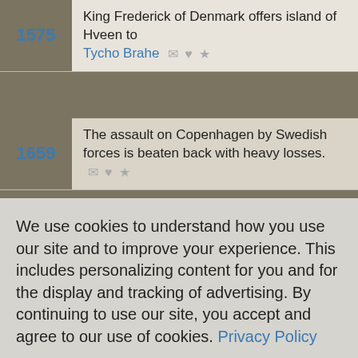1575 — King Frederick of Denmark offers island of Hveen to Tycho Brahe
1659 — The assault on Copenhagen by Swedish forces is beaten back with heavy losses.
1720 — Sweden & Prussia sign peace (2nd Treaty of Stockholm)
We use cookies to understand how you use our site and to improve your experience. This includes personalizing content for you and for the display and tracking of advertising. By continuing to use our site, you accept and agree to our use of cookies. Privacy Policy
Got it!
Prussian troops occupy Venlo, Netherlands